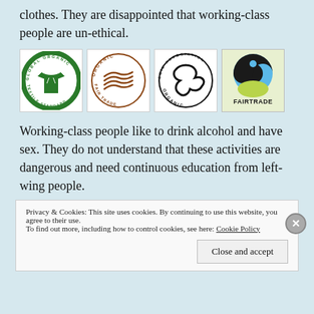clothes. They are disappointed that working-class people are un-ethical.
[Figure (logo): Four certification logos: Global Organic Textile Standard (green circle with shirt), Organic Fair Trade (brown circle with hands), Soil Association Organic (black circle with leaf/swirl), Fairtrade (blue, black, green yin-yang circle)]
Working-class people like to drink alcohol and have sex. They do not understand that these activities are dangerous and need continuous education from left-wing people.
Privacy & Cookies: This site uses cookies. By continuing to use this website, you agree to their use. To find out more, including how to control cookies, see here: Cookie Policy  Close and accept